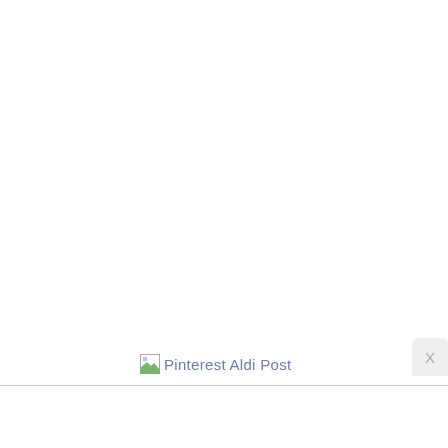[Figure (other): Broken image placeholder with alt text 'Pinterest Aldi Post' — shows a small broken image icon followed by the text label in blue-grey color. A small close button (X) appears to the right.]